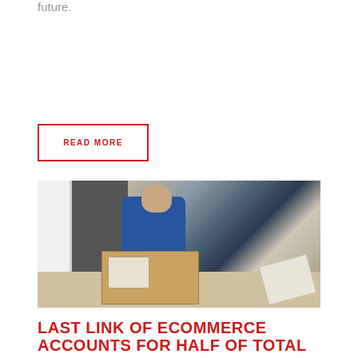future.
READ MORE
[Figure (photo): A delivery person in a blue shirt loading or unloading a cardboard box from a delivery van, viewed from above. Shipping labels and a clipboard are visible on the ground nearby.]
LAST LINK OF eCOMMERCE ACCOUNTS FOR HALF OF TOTAL…